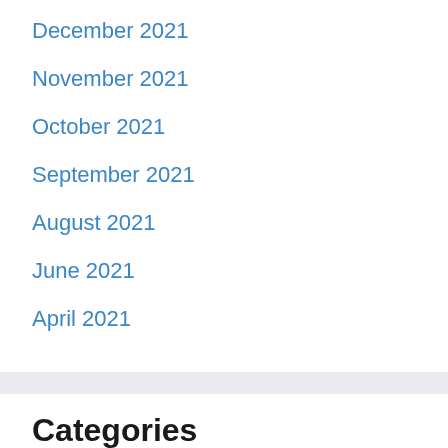December 2021
November 2021
October 2021
September 2021
August 2021
June 2021
April 2021
Categories
Business
Casino
Gaming